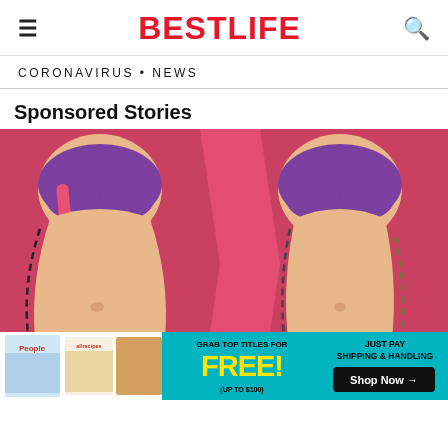BestLife
CORONAVIRUS • NEWS
Sponsored Stories
[Figure (illustration): Before and after body illustration showing two female torsos in swimwear with dashed lines indicating body shape changes, on a pink/red background. An advertisement banner overlays the bottom showing magazine offers with 'GRAB TOP TITLES FOR FREE! (UP TO $100) JUST PAY SHIPPING & HANDLING Shop Now →']